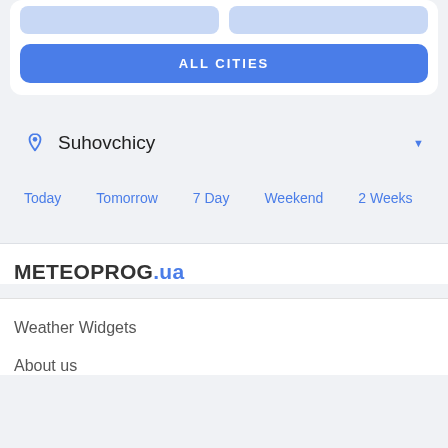[Figure (screenshot): Partial top card with two blue placeholder button elements and an ALL CITIES blue button]
ALL CITIES
Suhovchicy
Today
Tomorrow
7 Day
Weekend
2 Weeks
M
METEOPROG.ua
Weather Widgets
About us